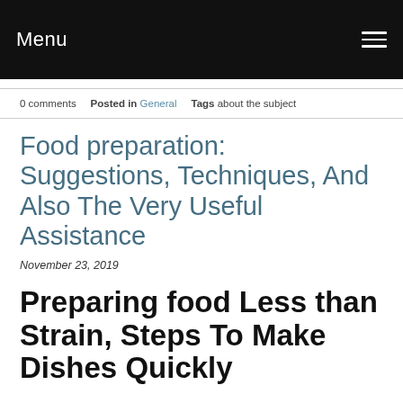Menu
0 comments   Posted in General   Tags about the subject
Food preparation: Suggestions, Techniques, And Also The Very Useful Assistance
November 23, 2019
Preparing food Less than Strain, Steps To Make Dishes Quickly